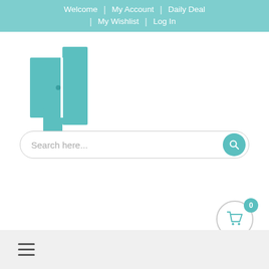Welcome | My Account | Daily Deal | My Wishlist | Log In
[Figure (logo): Teal abstract logo made of overlapping rectangular shapes resembling doors or panels]
Search here...
[Figure (illustration): Shopping cart icon inside a circle with badge showing 0]
[Figure (illustration): Hamburger menu icon (three horizontal lines) in bottom bar]